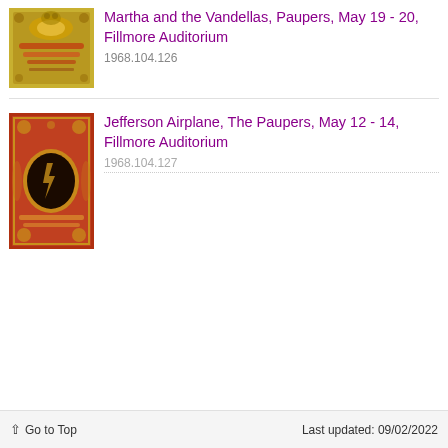[Figure (illustration): Concert poster thumbnail for Martha and the Vandellas, Paupers at Fillmore Auditorium - psychedelic style with yellow/gold tones]
Martha and the Vandellas, Paupers, May 19 - 20, Fillmore Auditorium
1968.104.126
[Figure (illustration): Concert poster thumbnail for Jefferson Airplane, The Paupers at Fillmore Auditorium - red and gold psychedelic design with dark circular motif]
Jefferson Airplane, The Paupers, May 12 - 14, Fillmore Auditorium
1968.104.127
↑ Go to Top    Last updated: 09/02/2022